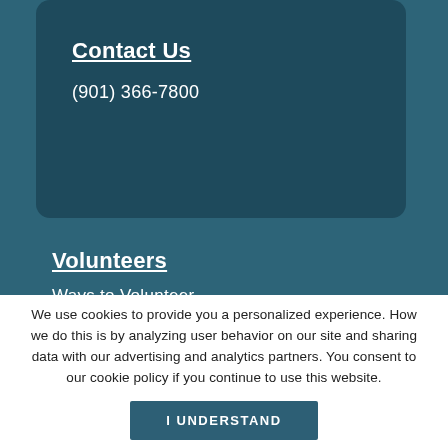Contact Us
(901) 366-7800
Volunteers
Ways to Volunteer
We use cookies to provide you a personalized experience. How we do this is by analyzing user behavior on our site and sharing data with our advertising and analytics partners. You consent to our cookie policy if you continue to use this website.
I UNDERSTAND